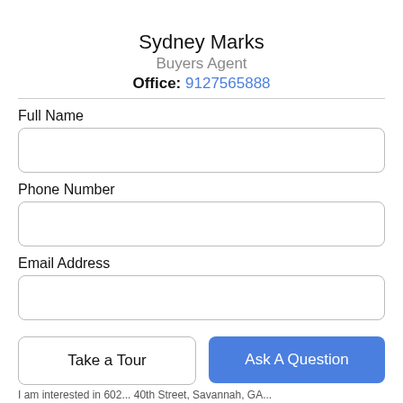[Figure (photo): Partial photo of agent Sydney Marks cropped at top of page]
Sydney Marks
Buyers Agent
Office: 9127565888
Full Name
Phone Number
Email Address
Take a Tour
Ask A Question
I am interested in 602... 40th Street, Savannah, GA...